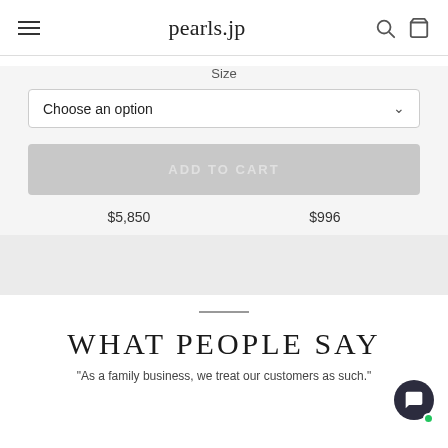pearls.jp
Size
Choose an option
ADD TO CART
$5,850    $996
WHAT PEOPLE SAY
"As a family business, we treat our customers as such."